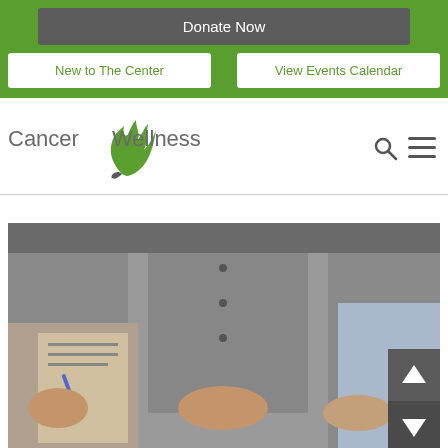Donate Now
New to The Center
View Events Calendar
[Figure (logo): Cancer Wellness Center logo with green flame/wave icon and gray text]
[Figure (photo): Photo of a person in gray shirt sitting with hands clasped, another person holding a pen and clipboard, possibly a counseling or medical consultation session. Navigation arrows visible in bottom right corner.]